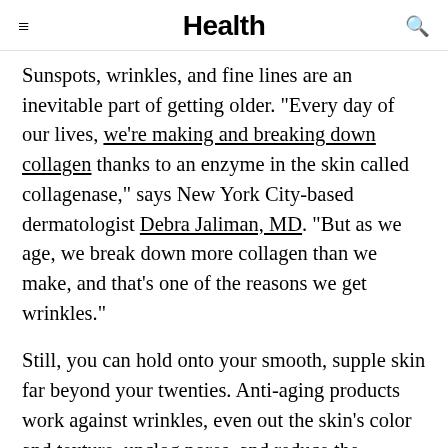Health
Sunspots, wrinkles, and fine lines are an inevitable part of getting older. "Every day of our lives, we're making and breaking down collagen thanks to an enzyme in the skin called collagenase," says New York City-based dermatologist Debra Jaliman, MD. "But as we age, we break down more collagen than we make, and that's one of the reasons we get wrinkles."
Still, you can hold onto your smooth, supple skin far beyond your twenties. Anti-aging products work against wrinkles, even out the skin's color and texture, unclog pores, and reduce the appearance of fine lines using ingredients like retinol, alpha hydroxy acids (AHAs), beta hydroxy